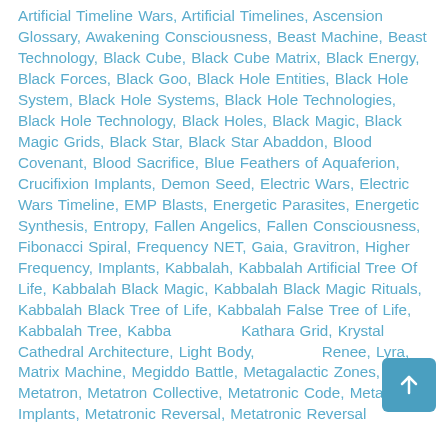Artificial Timeline Wars, Artificial Timelines, Ascension Glossary, Awakening Consciousness, Beast Machine, Beast Technology, Black Cube, Black Cube Matrix, Black Energy, Black Forces, Black Goo, Black Hole Entities, Black Hole System, Black Hole Systems, Black Hole Technologies, Black Hole Technology, Black Holes, Black Magic, Black Magic Grids, Black Star, Black Star Abaddon, Blood Covenant, Blood Sacrifice, Blue Feathers of Aquaferion, Crucifixion Implants, Demon Seed, Electric Wars, Electric Wars Timeline, EMP Blasts, Energetic Parasites, Energetic Synthesis, Entropy, Fallen Angelics, Fallen Consciousness, Fibonacci Spiral, Frequency NET, Gaia, Gravitron, Higher Frequency, Implants, Kabbalah, Kabbalah Artificial Tree Of Life, Kabbalah Black Magic, Kabbalah Black Magic Rituals, Kabbalah Black Tree of Life, Kabbalah False Tree of Life, Kabbalah Tree, Kabbalah Kathara Grid, Krystal Cathedral Architecture, Light Body, Renee, Lyra, Matrix Machine, Megiddo Battle, Metagalactic Zones, Metatron, Metatron Collective, Metatronic Code, Metatronic Implants, Metatronic Reversal, Metatronic Reversal